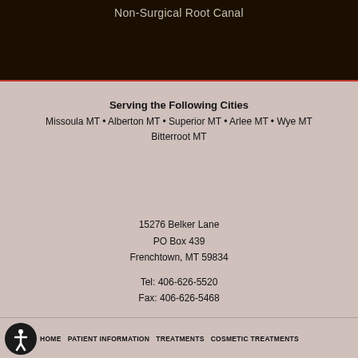Non-Surgical Root Canal
Serving the Following Cities
Missoula MT • Alberton MT • Superior MT • Arlee MT • Wye MT Bitterroot MT
15276 Belker Lane
PO Box 439
Frenchtown, MT 59834
Tel: 406-626-5520
Fax: 406-626-5468
HOME  PATIENT INFORMATION  TREATMENTS  COSMETIC TREATMENTS